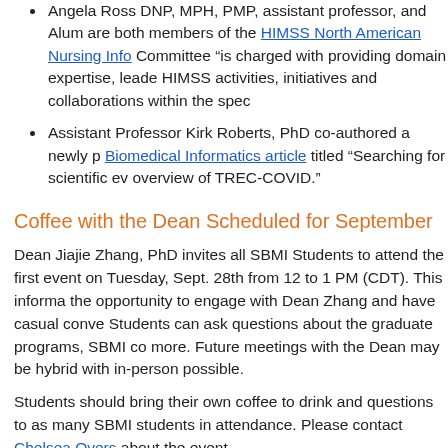Angela Ross DNP, MPH, PMP, assistant professor, and Alum... are both members of the HIMSS North American Nursing Info... Committee "is charged with providing domain expertise, leade... HIMSS activities, initiatives and collaborations within the spec...
Assistant Professor Kirk Roberts, PhD co-authored a newly p... Biomedical Informatics article titled “Searching for scientific ev... overview of TREC-COVID.”
Coffee with the Dean Scheduled for September...
Dean Jiajie Zhang, PhD invites all SBMI Students to attend the first... event on Tuesday, Sept. 28th from 12 to 1 PM (CDT). This informa... the opportunity to engage with Dean Zhang and have casual conve... Students can ask questions about the graduate programs, SBMI co... more. Future meetings with the Dean may be hybrid with in-person... possible.
Students should bring their own coffee to drink and questions to as... many SBMI students in attendance. Please contact Chelsea Overs... about the event.